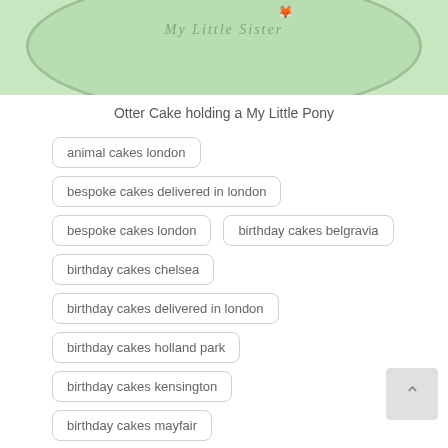[Figure (photo): Top portion of a green oval otter cake with cursive text reading 'My Little Sister' and a small red character on top]
Otter Cake holding a My Little Pony
animal cakes london
bespoke cakes delivered in london
bespoke cakes london
birthday cakes belgravia
birthday cakes chelsea
birthday cakes delivered in london
birthday cakes holland park
birthday cakes kensington
birthday cakes mayfair
birthday cakes notting hill
christening cakes london
custom made cakes london
Otter Cake london
wedding cakes london